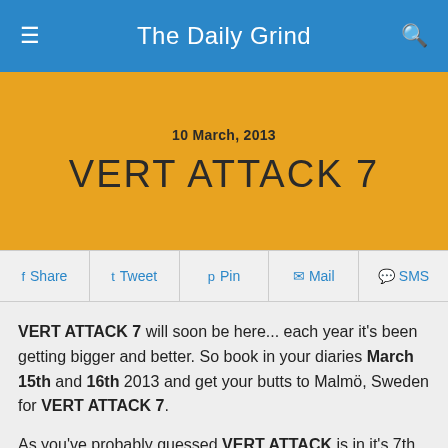The Daily Grind
10 March, 2013
VERT ATTACK 7
Share  Tweet  Pin  Mail  SMS
VERT ATTACK 7 will soon be here... each year it's been getting bigger and better. So book in your diaries March 15th and 16th 2013 and get your butts to Malmö, Sweden for VERT ATTACK 7.
As you've probably guessed VERT ATTACK is in it's 7th year. From the humble beginnings of a hand-full